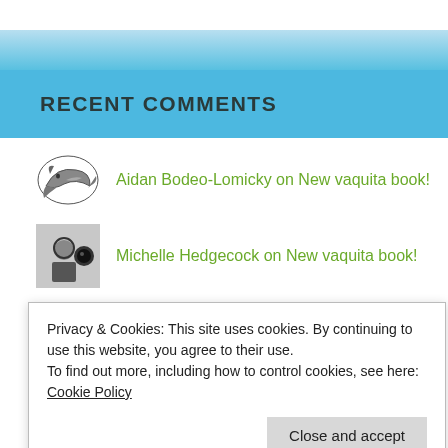RECENT COMMENTS
Aidan Bodeo-Lomicky on New vaquita book!
Michelle Hedgecock on New vaquita book!
Paola Castano on Hello again
Privacy & Cookies: This site uses cookies. By continuing to use this website, you agree to their use.
To find out more, including how to control cookies, see here: Cookie Policy
abs514 on Hello again